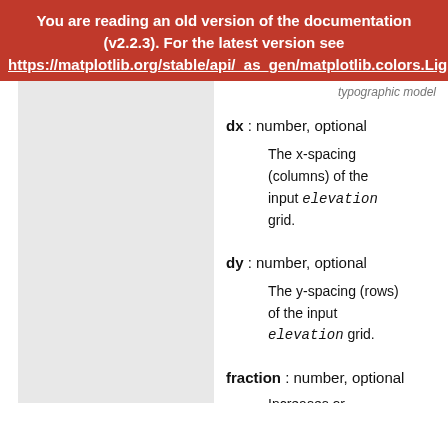You are reading an old version of the documentation (v2.2.3). For the latest version see https://matplotlib.org/stable/api/_as_gen/matplotlib.colors.LightSo
typographic model
dx : number, optional
The x-spacing (columns) of the input elevation grid.
dy : number, optional
The y-spacing (rows) of the input elevation grid.
fraction : number, optional
Increases or